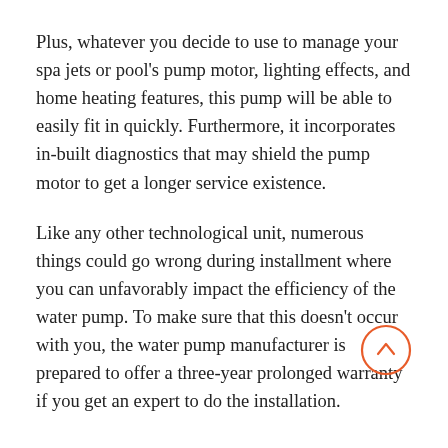Plus, whatever you decide to use to manage your spa jets or pool's pump motor, lighting effects, and home heating features, this pump will be able to easily fit in quickly. Furthermore, it incorporates in-built diagnostics that may shield the pump motor to get a longer service existence.
Like any other technological unit, numerous things could go wrong during installment where you can unfavorably impact the efficiency of the water pump. To make sure that this doesn't occur with you, the water pump manufacturer is prepared to offer a three-year prolonged warranty if you get an expert to do the installation.